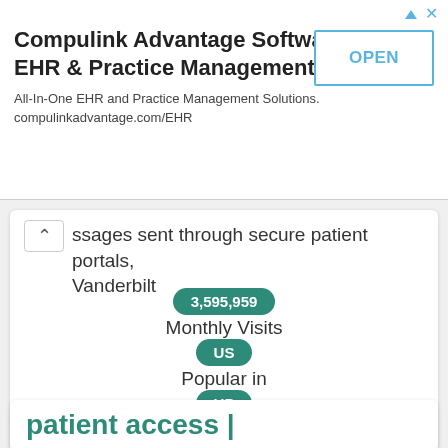[Figure (screenshot): Advertisement banner for Compulink Advantage Software - EHR & Practice Management with OPEN button]
ssages sent through secure patient portals, Vanderbilt
3,595,959
Monthly Visits
US
Popular in
UP
Service Status
11h ago
Last Checked
patient access |